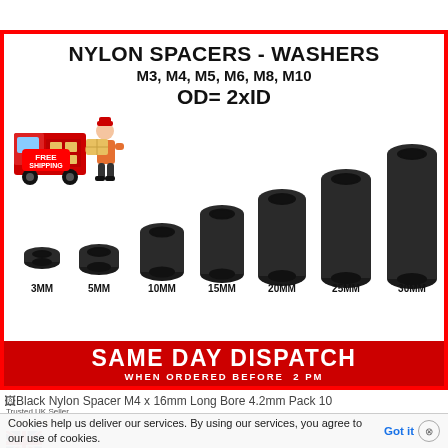[Figure (photo): Product listing image for Black Nylon Spacers/Washers in sizes M3, M4, M5, M6, M8, M10. Shows 7 black cylindrical nylon spacers of increasing height (3MM, 5MM, 10MM, 15MM, 20MM, 25MM, 30MM) arranged left to right. Text reads NYLON SPACERS - WASHERS, M3, M4, M5, M6, M8, M10, OD= 2xID, with a FREE SHIPPING badge and delivery person graphic. Red banner at bottom: SAME DAY DISPATCH WHEN ORDERED BEFORE 2 PM.]
Black Nylon Spacer M4 x 16mm Long Bore 4.2mm Pack 10
Trusted UK Seller
Cookies help us deliver our services. By using our services, you agree to our use of cookies.
Got it